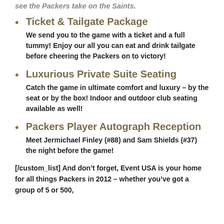see the Packers take on the Saints.
Ticket & Tailgate Package
We send you to the game with a ticket and a full tummy! Enjoy our all you can eat and drink tailgate before cheering the Packers on to victory!
Luxurious Private Suite Seating
Catch the game in ultimate comfort and luxury – by the seat or by the box! Indoor and outdoor club seating available as well!
Packers Player Autograph Reception
Meet Jermichael Finley (#88) and Sam Shields (#37) the night before the game!
[/custom_list] And don't forget, Event USA is your home for all things Packers in 2012 – whether you've got a group of 5 or 500,